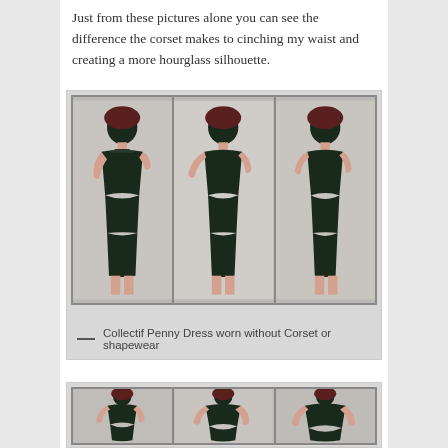Just from these pictures alone you can see the difference the corset makes to cinching my waist and creating a more hourglass silhouette.
[Figure (photo): Three photos side by side of a woman wearing a black Collectif Penny Dress without corset or shapewear, shown from different angles (front-left, front, front-right).]
— Collectif Penny Dress worn without Corset or shapewear
[Figure (photo): Three photos side by side of a woman wearing a black Collectif Penny Dress with corset, shown from different angles, displaying more defined hourglass silhouette.]